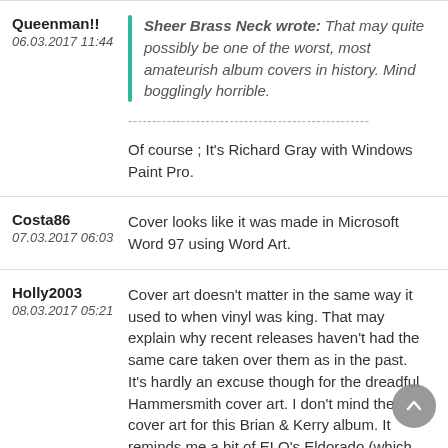Queenman!!
06.03.2017 11:44
Sheer Brass Neck wrote: That may quite possibly be one of the worst, most amateurish album covers in history. Mind bogglingly horrible.
Of course ; It's Richard Gray with Windows Paint Pro.
Costa86
07.03.2017 06:03
Cover looks like it was made in Microsoft Word 97 using Word Art.
Holly2003
08.03.2017 05:21
Cover art doesn't matter in the same way it used to when vinyl was king. That may explain why recent releases haven't had the same care taken over them as in the past. It's hardly an excuse though for the dreadful Hammersmith cover art. I don't mind the cover art for this Brian & Kerry album. It reminds me a bit of ELO's Eldorado (which was of course inspired by the Wizard of Oz). It's a bit naff maybe, but not as bad as some